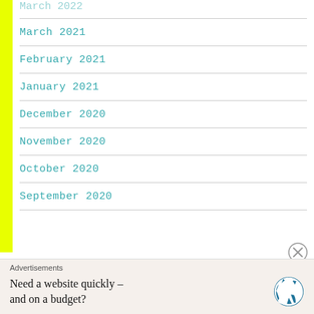March 2022
March 2021
February 2021
January 2021
December 2020
November 2020
October 2020
September 2020
Advertisements
Need a website quickly – and on a budget?